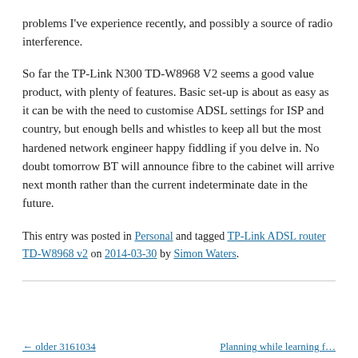problems I've experience recently, and possibly a source of radio interference.
So far the TP-Link N300 TD-W8968 V2 seems a good value product, with plenty of features. Basic set-up is about as easy as it can be with the need to customise ADSL settings for ISP and country, but enough bells and whistles to keep all but the most hardened network engineer happy fiddling if you delve in. No doubt tomorrow BT will announce fibre to the cabinet will arrive next month rather than the current indeterminate date in the future.
This entry was posted in Personal and tagged TP-Link ADSL router TD-W8968 v2 on 2014-03-30 by Simon Waters.
← older 3161034          Planning while learning f…